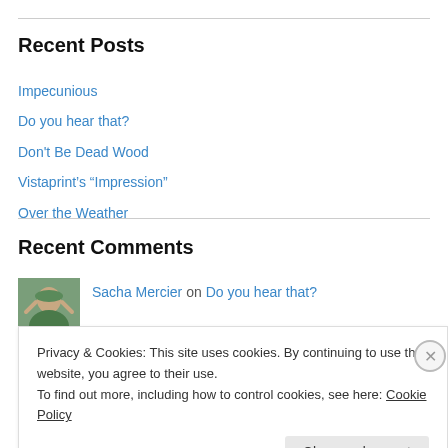Recent Posts
Impecunious
Do you hear that?
Don't Be Dead Wood
Vistaprint’s “Impression”
Over the Weather
Recent Comments
Sacha Mercier on Do you hear that?
Privacy & Cookies: This site uses cookies. By continuing to use this website, you agree to their use.
To find out more, including how to control cookies, see here: Cookie Policy
Close and accept